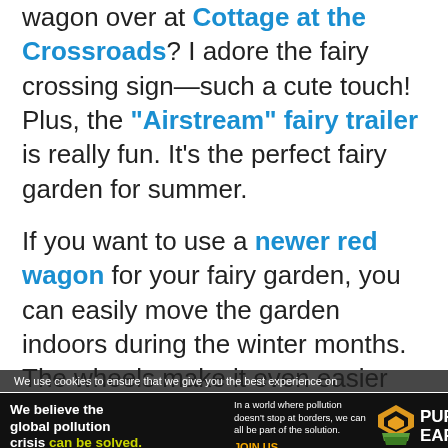wagon over at Cottage at the Crossroads? I adore the fairy crossing sign—such a cute touch! Plus, the "Airstream" fairy trailer is really fun. It's the perfect fairy garden for summer.
If you want to use a newer red wagon for your fairy garden, you can easily move the garden indoors during the winter months. The wheels make it even easier than carrying in a standard container garden. Again, keep in mind that a wagon is a shallow container, so look for fairy garden
We use cookies to ensure that we give you the best experience on
[Figure (infographic): Pure Earth advertisement banner. Black background. Left side bold white text: 'We believe the global pollution crisis can be solved.' with 'can be solved.' in yellow-green. Middle: small white text 'In a world where pollution doesn't stop at borders, we can all be part of the solution.' with 'JOIN US.' in orange/gold. Right: Pure Earth logo with diamond/chevron shapes in orange and green, and 'PURE EARTH' in white bold text.]